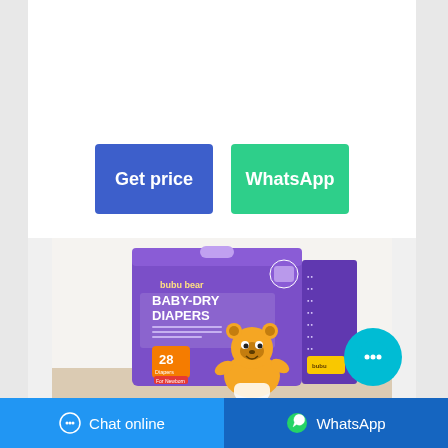[Figure (other): Two call-to-action buttons: 'Get price' (blue) and 'WhatsApp' (green)]
[Figure (photo): Product photo of 'bubu bear BABY-DRY DIAPERS' purple box with cartoon bear, 28 diapers]
Chat online    WhatsApp